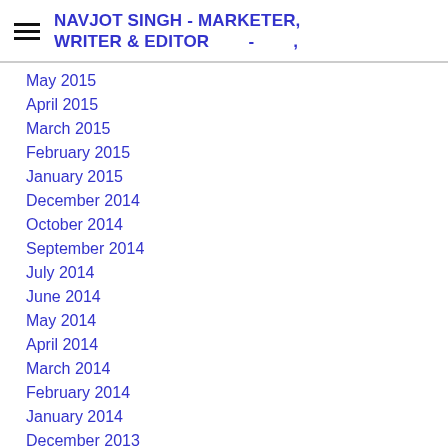NAVJOT SINGH - MARKETER, WRITER & EDITOR
May 2015
April 2015
March 2015
February 2015
January 2015
December 2014
October 2014
September 2014
July 2014
June 2014
May 2014
April 2014
March 2014
February 2014
January 2014
December 2013
November 2013